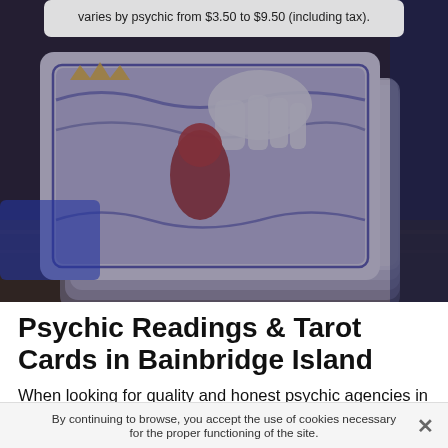varies by psychic from $3.50 to $9.50 (including tax).
[Figure (photo): Close-up photo of a stack of tarot cards with colorful illustrated backs, partially in shadow with dark background. The top card shows cartoon-style illustrations of figures and wavy patterns.]
Psychic Readings & Tarot Cards in Bainbridge Island
When looking for quality and honest psychic agencies in Bainbridge Island, it is important to inquire and have an opinion about their reputation and their real person. When it comes to psychic reading, it is very important to have recourse to an honest and serious person who will be able
By continuing to browse, you accept the use of cookies necessary for the proper functioning of the site.